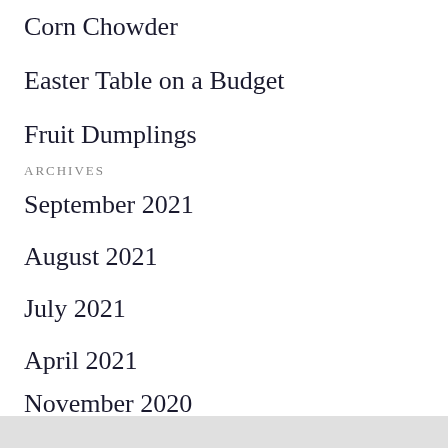Corn Chowder
Easter Table on a Budget
Fruit Dumplings
ARCHIVES
September 2021
August 2021
July 2021
April 2021
November 2020
Privacy & Cookies: This site uses cookies. By continuing to use this website, you agree to their use.
To find out more, including how to control cookies, see here:
Cookie Policy
Close and accept